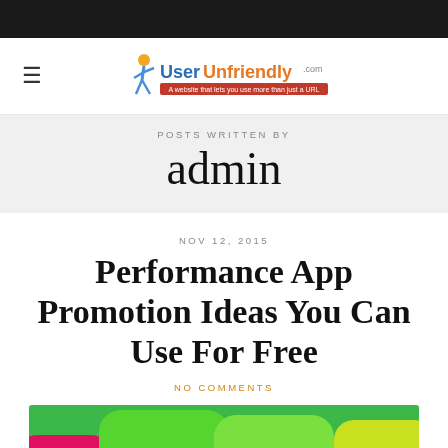[Figure (logo): UserUnfriendly.com website logo with a stylized figure and colorful text]
POSTS WRITTEN BY
admin
NOV 12, 2015
Performance App Promotion Ideas You Can Use For Free
NO COMMENTS
[Figure (photo): Colorful glossy app icons with letters P and APP on green, yellow and pink rounded square buttons]